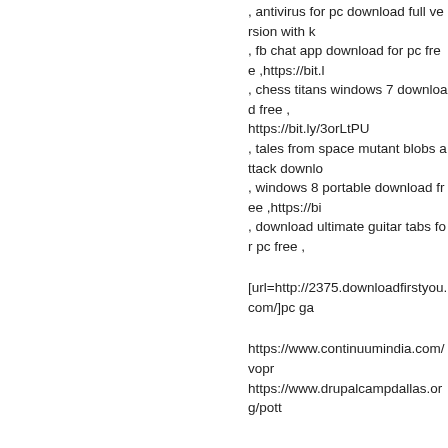, antivirus for pc download full version with k , fb chat app download for pc free ,https://bit.l , chess titans windows 7 download free , https://bit.ly/3orLtPU , tales from space mutant blobs attack downlo , windows 8 portable download free ,https://bi , download ultimate guitar tabs for pc free ,
[url=http://2375.downloadfirstyou.com/]pc ga
https://www.continuumindia.com/vopr https://www.drupalcampdallas.org/pott
https://173.atsluvefiles.fr/
cricket games for pc 2015 ipl download free , server 2003 32 bit sysprep download free , hp https://sites.google.com/view/igkg45kvf290pj odt escape or die tryin pc download free , http combat 4 game download for pc free , best act https://sites.google.com/view/08zoxo772feula free , https://948.anbrefiles.ca/